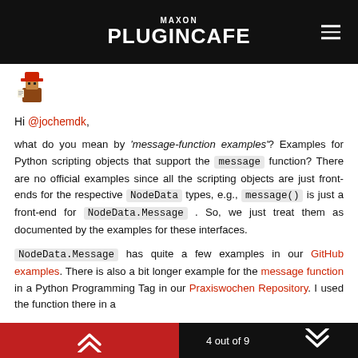MAXON PLUGINCAFE
[Figure (illustration): Small pixel-art avatar icon of a character with a red hat]
Hi @jochemdk,
what do you mean by 'message-function examples'? Examples for Python scripting objects that support the message function? There are no official examples since all the scripting objects are just front-ends for the respective NodeData types, e.g., message() is just a front-end for NodeData.Message . So, we just treat them as documented by the examples for these interfaces.
NodeData.Message has quite a few examples in our GitHub examples. There is also a bit longer example for the message function in a Python Programming Tag in our Praxiswochen Repository. I used the function there in a
4 out of 9